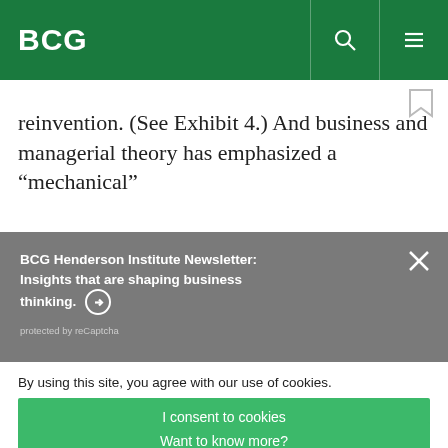BCG
reinvention. (See Exhibit 4.) And business and managerial theory has emphasized a “mechanical”
[Figure (screenshot): BCG Henderson Institute Newsletter subscription banner with grey background, title 'BCG Henderson Institute Newsletter: Insights that are shaping business thinking.' with arrow circle icon, close X button, and 'protected by reCaptcha' text.]
By using this site, you agree with our use of cookies.
I consent to cookies
Want to know more?
Read our Cookie Policy